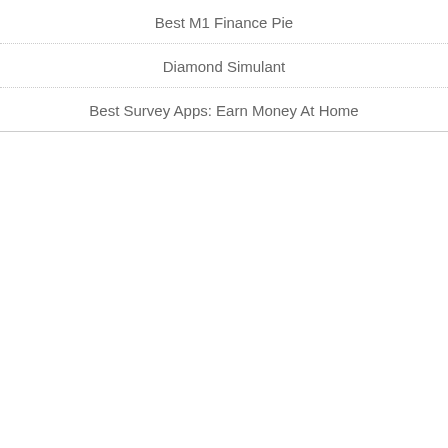Best M1 Finance Pie
Diamond Simulant
Best Survey Apps: Earn Money At Home